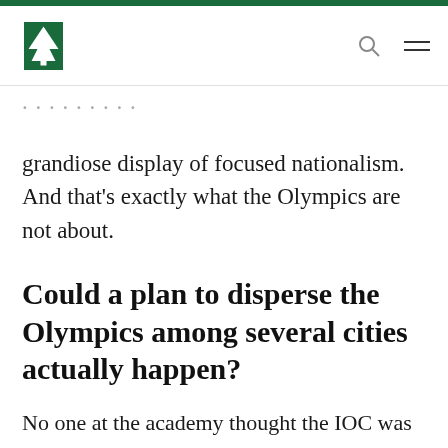Dartmouth newspaper navigation bar with logo, search and menu icons
grandiose display of focused nationalism. And that's exactly what the Olympics are not about.
Could a plan to disperse the Olympics among several cities actually happen?
No one at the academy thought the IOC was going to say yes right off the bat. The